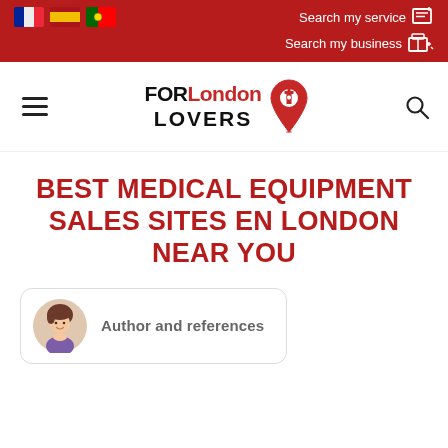Search my service | Search my business
[Figure (logo): FORLondon LOVERS logo with location pin icon]
BEST MEDICAL EQUIPMENT SALES SITES EN LONDON NEAR YOU
Author and references